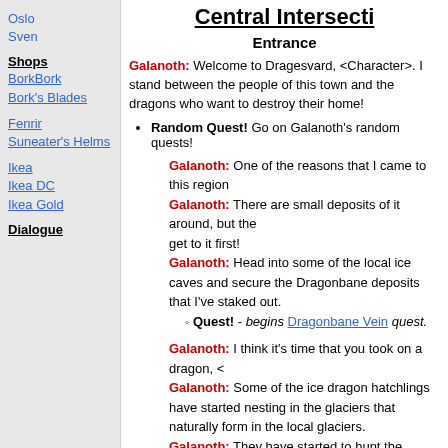Oslo
Sven
Shops
BorkBork
Bork's Blades
Fenrir
Suneater's Helms
Ikea
Ikea DC
Ikea Gold
Dialogue
Central Intersection
Entrance
Galanoth: Welcome to Dragesvard, <Character>. I stand between the people of this town and the dragons who want to destroy their home!
Random Quest! Go on Galanoth's random quests!
Galanoth: One of the reasons that I came to this region was to find Dragonbane ore.
Galanoth: There are small deposits of it around, but the dragons will try to get to it first!
Galanoth: Head into some of the local ice caves and secure the Dragonbane deposits that I've staked out.
Quest! - begins Dragonbane Vein quest.
Galanoth: I think it's time that you took on a dragon, <Character>.
Galanoth: Some of the ice dragon hatchlings have started nesting in the glaciers that naturally form in the local glaciers.
Galanoth: They have started to hunt the wildlife and the people of Dragesvard difficult and dangerous.
Galanoth: Track down one of these early beasts...